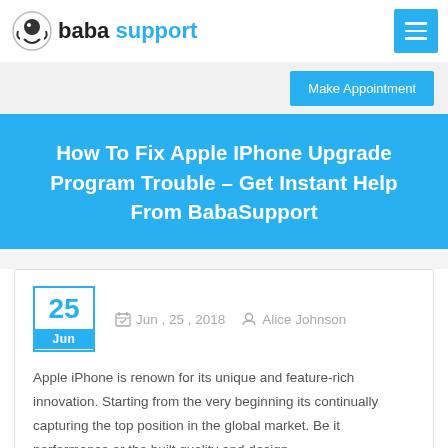baba support
How To Fix Apple IPhone Upgrade Program Trouble – Get Instant Help From BabaSupport
Jun , 25 , 2018   Alice Johnson
Apple iPhone is renown for its unique and feature-rich innovation. Starting from the very beginning its continually capturing the top position in the global market. Be it performance or the built quality and design